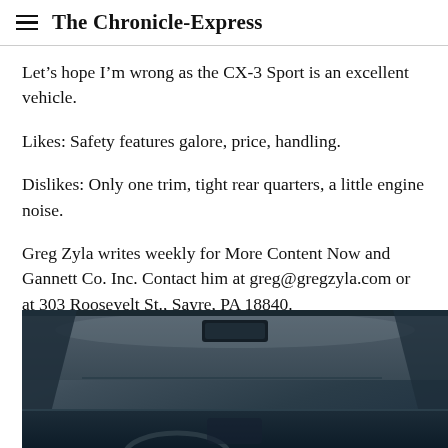The Chronicle-Express
Let’s hope I’m wrong as the CX-3 Sport is an excellent vehicle.
Likes: Safety features galore, price, handling.
Dislikes: Only one trim, tight rear quarters, a little engine noise.
Greg Zyla writes weekly for More Content Now and Gannett Co. Inc. Contact him at greg@gregzyla.com or at 303 Roosevelt St., Sayre, PA 18840.
[Figure (photo): Interior view of a car from the driver perspective, showing the windshield, rearview mirror, dashboard, and A-pillars in dark/grey tones.]